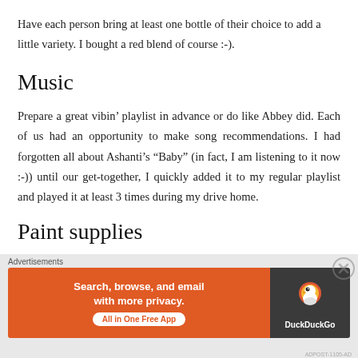Have each person bring at least one bottle of their choice to add a little variety. I bought a red blend of course :-).
Music
Prepare a great vibin’ playlist in advance or do like Abbey did. Each of us had an opportunity to make song recommendations. I had forgotten all about Ashanti’s “Baby” (in fact, I am listening to it now :-)) until our get-together, I quickly added it to my regular playlist and played it at least 3 times during my drive home.
Paint supplies
[Figure (infographic): DuckDuckGo advertisement banner: orange left panel with text 'Search, browse, and email with more privacy. All in One Free App', dark right panel with DuckDuckGo logo and name. 'Advertisements' label above.]